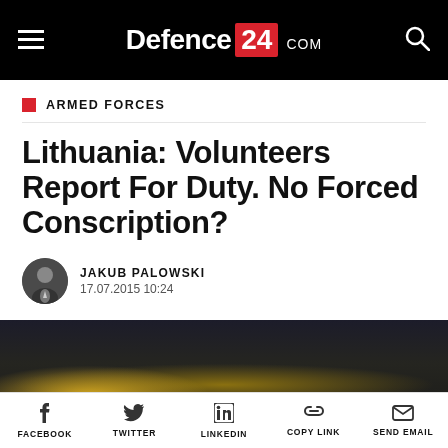Defence24.com
ARMED FORCES
Lithuania: Volunteers Report For Duty. No Forced Conscription?
JAKUB PALOWSKI
17.07.2015 10:24
[Figure (photo): Dark dramatic sky with clouds and golden light on the horizon]
FACEBOOK  TWITTER  LINKEDIN  COPY LINK  SEND EMAIL